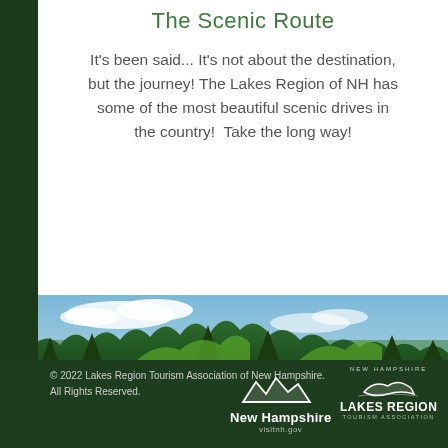The Scenic Route
It's been said... It's not about the destination, but the journey! The Lakes Region of NH has some of the most beautiful scenic drives in the country!  Take the long way!
[Figure (photo): A calm lake or river reflecting green trees and a partly cloudy blue sky, surrounded by lush forest — a scenic New Hampshire Lakes Region landscape.]
© 2022 Lakes Region Tourism Association of New Hampshire. All Rights Reserved.